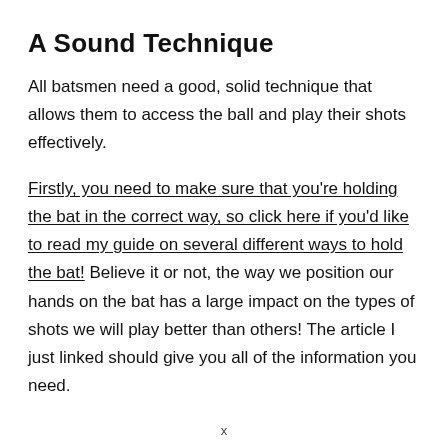A Sound Technique
All batsmen need a good, solid technique that allows them to access the ball and play their shots effectively.
Firstly, you need to make sure that you're holding the bat in the correct way, so click here if you'd like to read my guide on several different ways to hold the bat! Believe it or not, the way we position our hands on the bat has a large impact on the types of shots we will play better than others! The article I just linked should give you all of the information you need.